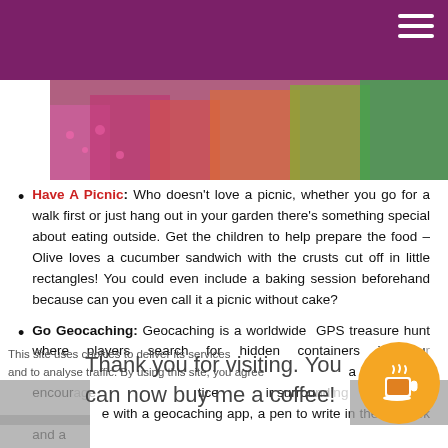Navigation header with hamburger menu
[Figure (photo): Colorful photo strip showing picnic/outdoor food scene with pink, yellow, green items]
Have A Picnic: Who doesn't love a picnic, whether you go for a walk first or just hang out in your garden there's something special about eating outside. Get the children to help prepare the food – Olive loves a cucumber sandwich with the crusts cut off in little rectangles! You could even include a baking session beforehand because can you even call it a picnic without cake?
Go Geocaching: Geocaching is a worldwide GPS treasure hunt where players search for hidden containers it's su... a walk and encour... tice ... ir surrou... t – ... e with a geocaching app, a pen to write in the logbook and a
This site uses cookies to deliver its services and to analyse traffic. By using this site, you agree to its use of cookies.
Thank you for visiting. You can now buy me a coffee!